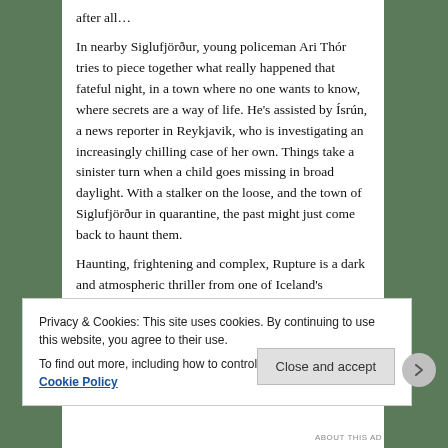after all… In nearby Siglufjörður, young policeman Ari Thór tries to piece together what really happened that fateful night, in a town where no one wants to know, where secrets are a way of life. He's assisted by Ísrún, a news reporter in Reykjavik, who is investigating an increasingly chilling case of her own. Things take a sinister turn when a child goes missing in broad daylight. With a stalker on the loose, and the town of Siglufjörður in quarantine, the past might just come back to haunt them.
Haunting, frightening and complex, Rupture is a dark and atmospheric thriller from one of Iceland's foremost crime writers. 'Traditional and beautifully finessed… morally more equivocal than most traditional whodunnits, and it offers alluring glimpses of darker, and infinitely more
Privacy & Cookies: This site uses cookies. By continuing to use this website, you agree to their use.
To find out more, including how to control cookies, see here: Cookie Policy